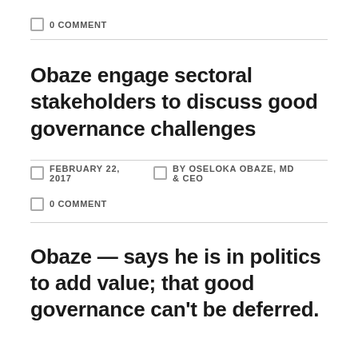0 COMMENT
Obaze engage sectoral stakeholders to discuss good governance challenges
FEBRUARY 22, 2017   BY OSELOKA OBAZE, MD & CEO
0 COMMENT
Obaze — says he is in politics to add value; that good governance can't be deferred.